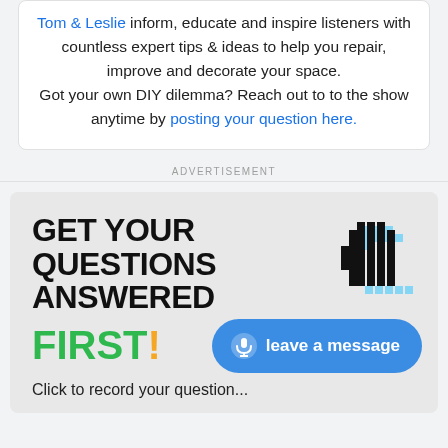Tom & Leslie inform, educate and inspire listeners with countless expert tips & ideas to help you repair, improve and decorate your space.

Got your own DIY dilemma? Reach out to to the show anytime by posting your question here.
ADVERTISEMENT
[Figure (infographic): Advertisement banner: 'GET YOUR QUESTIONS ANSWERED FIRST!' with a pixel-art fist icon, green and orange text, and a blue 'leave a message' button with microphone icon. Below: 'Click to record your question...']